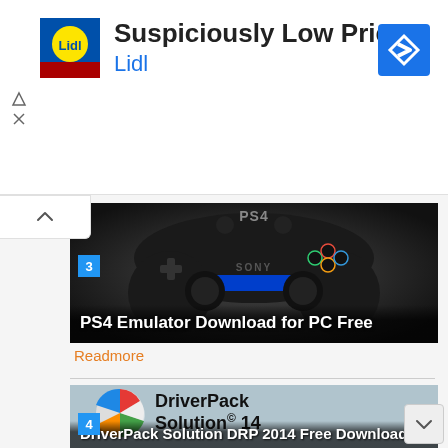[Figure (infographic): Lidl advertisement banner with Lidl logo, text 'Suspiciously Low Prices' and 'Lidl', a blue diamond navigation icon, and ad controls]
[Figure (photo): PS4 DualShock controller on dark background with PS4 logo and text overlay 'PS4 Emulator Download for PC Free', numbered badge 3]
Readmore
[Figure (screenshot): DriverPack Solution 14 graphic with colorful sphere logo, text 'DriverPack Solution 14', and caption 'DriverPack Solution DRP 2014 Free Download', numbered badge 4]